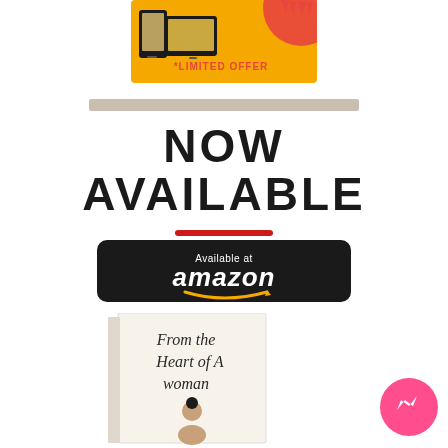[Figure (illustration): Promotional banner with phone/tablet devices on yellow/orange background with *LIMITED OFFER text in red]
[Figure (illustration): Beige/tan horizontal divider bar]
NOW AVAILABLE
[Figure (illustration): Red horizontal accent underline]
[Figure (illustration): Black rounded rectangle Amazon button with 'Available at amazon' text and orange arrow logo]
[Figure (illustration): Book cover showing 'From the Heart of A Woman' with illustration of woman, cream/white cover]
[Figure (illustration): Pink circular Messenger chat icon in bottom right corner]